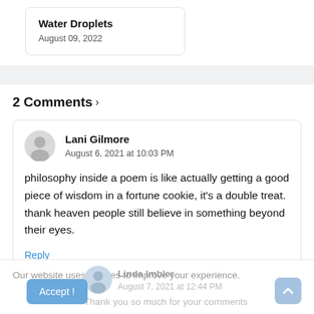Water Droplets
August 09, 2022
2 Comments ›
Lani Gilmore
August 6, 2021 at 10:03 PM
philosophy inside a poem is like actually getting a good piece of wisdom in a fortune cookie, it's a double treat. thank heaven people still believe in something beyond their eyes.
Reply
Our website uses cookies to improve your experience.
Linda Imbler
August 7, 2021 at 12:44 PM
Thank you so much for your comments